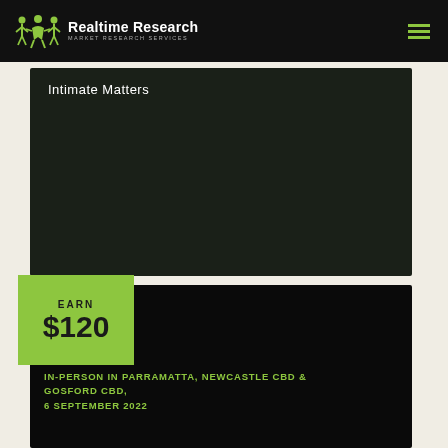[Figure (logo): Realtime Research logo with green figure icons and text 'Realtime Research MARKET RESEARCH SERVICES']
Realtime Research MARKET RESEARCH SERVICES
Intimate Matters
EARN $120
IN-PERSON IN PARRAMATTA, NEWCASTLE CBD & GOSFORD CBD, 6 SEPTEMBER 2022